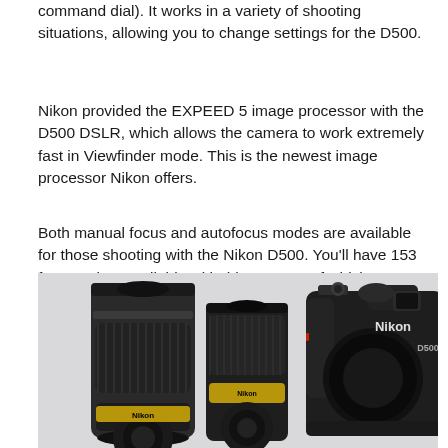command dial). It works in a variety of shooting situations, allowing you to change settings for the D500.
Nikon provided the EXPEED 5 image processor with the D500 DSLR, which allows the camera to work extremely fast in Viewfinder mode. This is the newest image processor Nikon offers.
Both manual focus and autofocus modes are available for those shooting with the Nikon D500. You'll have 153 focus points available with this camera, of which you can select up to 55. When using autofocus, you can make use of 153-, 72-, or 25-point dynamic area autofocus.
[Figure (photo): Photo of two Nikon camera lenses and a Nikon D500 DSLR camera body arranged side by side on a light gray background.]